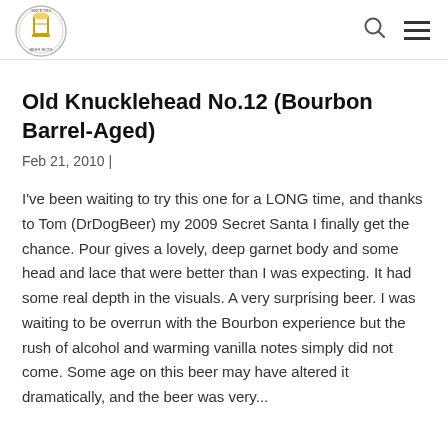Beer Blog logo, search icon, hamburger menu
Old Knucklehead No.12 (Bourbon Barrel-Aged)
Feb 21, 2010 |
I've been waiting to try this one for a LONG time, and thanks to Tom (DrDogBeer) my 2009 Secret Santa I finally get the chance. Pour gives a lovely, deep garnet body and some head and lace that were better than I was expecting. It had some real depth in the visuals. A very surprising beer. I was waiting to be overrun with the Bourbon experience but the rush of alcohol and warming vanilla notes simply did not come. Some age on this beer may have altered it dramatically, and the beer was very...